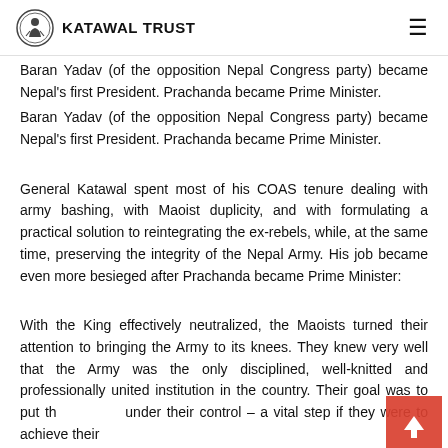KATAWAL TRUST
Baran Yadav (of the opposition Nepal Congress party) became Nepal's first President. Prachanda became Prime Minister.
General Katawal spent most of his COAS tenure dealing with army bashing, with Maoist duplicity, and with formulating a practical solution to reintegrating the ex-rebels, while, at the same time, preserving the integrity of the Nepal Army. His job became even more besieged after Prachanda became Prime Minister:
With the King effectively neutralized, the Maoists turned their attention to bringing the Army to its knees. They knew very well that the Army was the only disciplined, well-knitted and professionally united institution in the country. Their goal was to put th under their control – a vital step if they were to achieve their